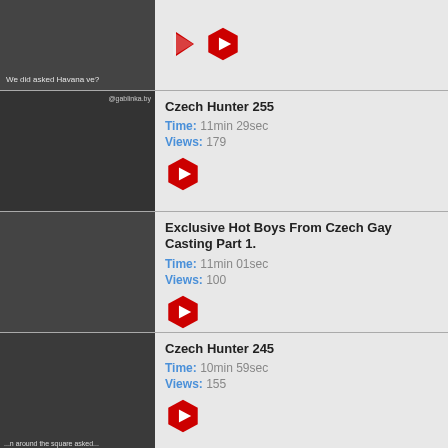[Figure (screenshot): Video listing row 1: thumbnail of two people outdoors, partial view]
[Figure (screenshot): Video listing row 2: Czech Hunter 255, Time: 11min 29sec, Views: 179]
[Figure (screenshot): Video listing row 3: Exclusive Hot Boys From Czech Gay Casting Part 1., Time: 11min 01sec, Views: 100]
[Figure (screenshot): Video listing row 4: Czech Hunter 245, Time: 10min 59sec, Views: 155]